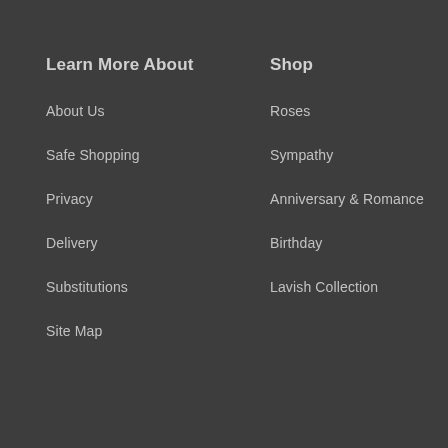Learn More About
About Us
Safe Shopping
Privacy
Delivery
Substitutions
Site Map
Shop
Roses
Sympathy
Anniversary & Romance
Birthday
Lavish Collection